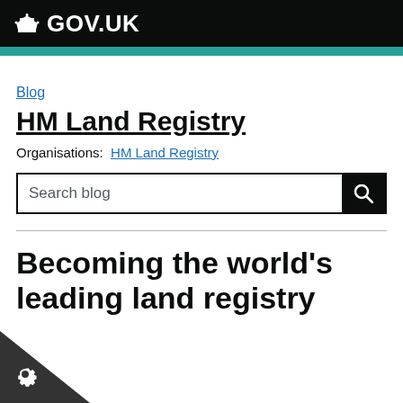GOV.UK
Blog
HM Land Registry
Organisations: HM Land Registry
Search blog
Becoming the world's leading land registry